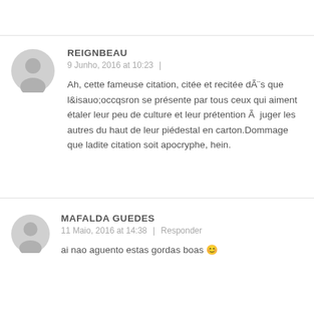REIGNBEAU
9 Junho, 2016 at 10:23  |
Ah, cette fameuse citation, citée et recitée dÃ¨s que l&isauo;occqsron se présente par tous ceux qui aiment étaler leur peu de culture et leur prétention Ã  juger les autres du haut de leur piédestal en carton.Dommage que ladite citation soit apocryphe, hein.
MAFALDA GUEDES
11 Maio, 2016 at 14:38  |  Responder
ai nao aguento estas gordas boas 😊